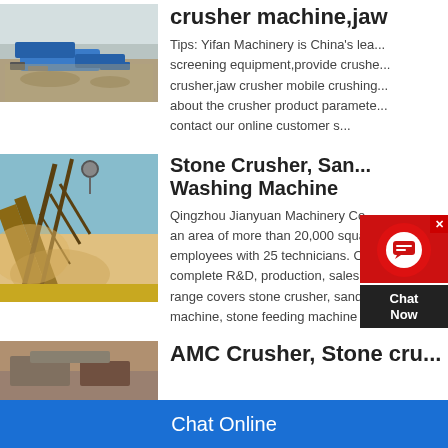[Figure (photo): Aerial view of mining/crushing equipment and machinery on a construction or quarry site with blue machinery]
crusher machine,jaw
Tips: Yifan Machinery is China's leading screening equipment,provide crusher,jaw crusher mobile crushing about the crusher product parameters contact our online customer s
[Figure (photo): Conveyor belt at a quarry or sand washing plant, dusty scene against sky]
Stone Crusher, Sand Washing Machine
Qingzhou Jianyuan Machinery Co., an area of more than 20,000 square employees with 25 technicians. Our complete R&D, production, sales, a range covers stone crusher, sand m machine, stone feeding machine etc
[Figure (photo): Third product thumbnail, partially visible at bottom]
AMC Crusher, Stone cru
[Figure (other): Chat Now live support widget overlay with red circle icon and dark background]
Chat Online